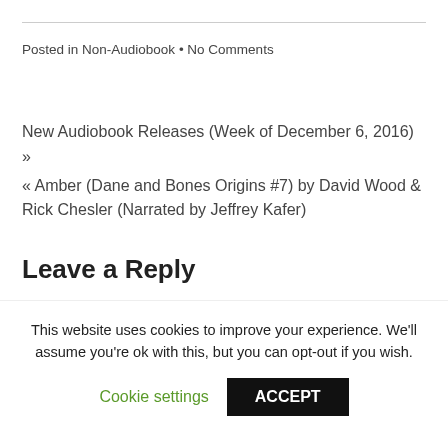Posted in Non-Audiobook • No Comments
New Audiobook Releases (Week of December 6, 2016) »
« Amber (Dane and Bones Origins #7) by David Wood & Rick Chesler (Narrated by Jeffrey Kafer)
Leave a Reply
Enter your comment here...
This website uses cookies to improve your experience. We'll assume you're ok with this, but you can opt-out if you wish.
Cookie settings   ACCEPT